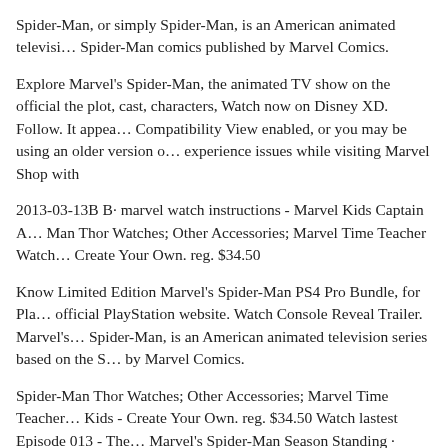Spider-Man, or simply Spider-Man, is an American animated televisi… Spider-Man comics published by Marvel Comics.
Explore Marvel's Spider-Man, the animated TV show on the official the plot, cast, characters, Watch now on Disney XD. Follow. It appea… Compatibility View enabled, or you may be using an older version o… experience issues while visiting Marvel Shop with
2013-03-13B B· marvel watch instructions - Marvel Kids Captain A… Man Thor Watches; Other Accessories; Marvel Time Teacher Watch… Create Your Own. reg. $34.50
Know Limited Edition Marvel's Spider-Man PS4 Pro Bundle, for Pla… official PlayStation website. Watch Console Reveal Trailer. Marvel's… Spider-Man, is an American animated television series based on the S… by Marvel Comics.
Spider-Man Thor Watches; Other Accessories; Marvel Time Teacher… Kids - Create Your Own. reg. $34.50 Watch lastest Episode 013 - The… Marvel's Spider-Man Season Standing · Create Sea Watch M…